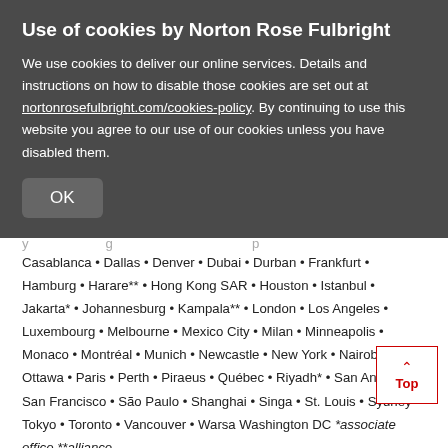Use of cookies by Norton Rose Fulbright
We use cookies to deliver our online services. Details and instructions on how to disable those cookies are set out at nortonrosefulbright.com/cookies-policy. By continuing to use this website you agree to our use of our cookies unless you have disabled them.
OK
Casablanca • Dallas • Denver • Dubai • Durban • Frankfurt • Hamburg • Harare** • Hong Kong SAR • Houston • Istanbul • Jakarta* • Johannesburg • Kampala** • London • Los Angeles • Luxembourg • Melbourne • Mexico City • Milan • Minneapolis • Monaco • Montréal • Munich • Newcastle • New York • Nairobi** • Ottawa • Paris • Perth • Piraeus • Québec • Riyadh* • San Antonio • San Francisco • São Paulo • Shanghai • Singa • St. Louis • Sydney • Tokyo • Toronto • Vancouver • Warsa Washington DC *associate office **alliance